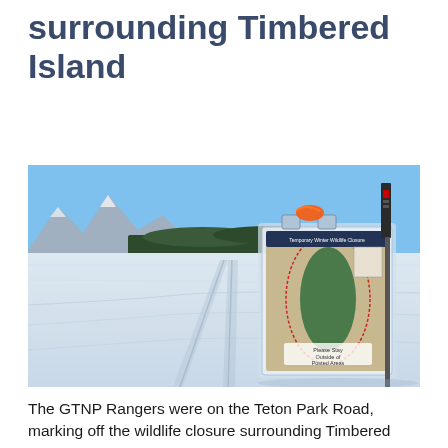surrounding Timbered Island
[Figure (photo): A snowy frozen lake scene with tire tracks leading into the distance toward a tree-covered island. In the foreground-right, a clear plastic map holder is mounted on a post, containing a map of the wildlife closure surrounding Timbered Island. An orange tag and a black thermometer are attached to the top of the holder. Handwritten text on the map holder reads 'Please Stay Outside of Posted Areas'. The sky is blue and clear, with mountains visible on the left.]
The GTNP Rangers were on the Teton Park Road, marking off the wildlife closure surrounding Timbered